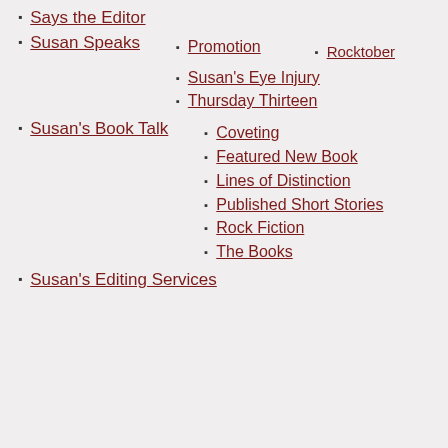Says the Editor
Susan Speaks
Promotion
Rocktober
Susan's Eye Injury
Thursday Thirteen
Susan's Book Talk
Coveting
Featured New Book
Lines of Distinction
Published Short Stories
Rock Fiction
The Books
Susan's Editing Services